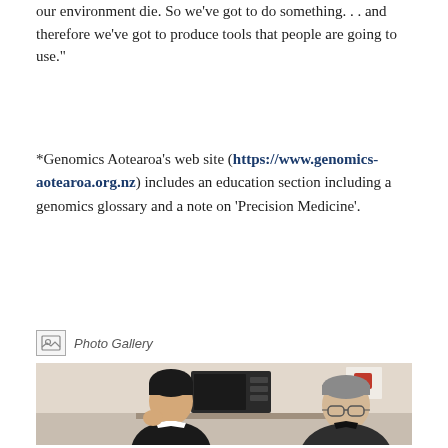our environment die. So we've got to do something. . . and therefore we've got to produce tools that people are going to use."
*Genomics Aotearoa's web site (https://www.genomics-aotearoa.org.nz) includes an education section including a genomics glossary and a note on 'Precision Medicine'.
Photo Gallery
[Figure (photo): Two people sitting at a table laughing and smiling in what appears to be an office or break room setting. A microwave and other kitchen items are visible in the background. On the left is a young Asian man in a black and white jacket, and on the right is an older man with grey hair wearing glasses and a dark jacket.]